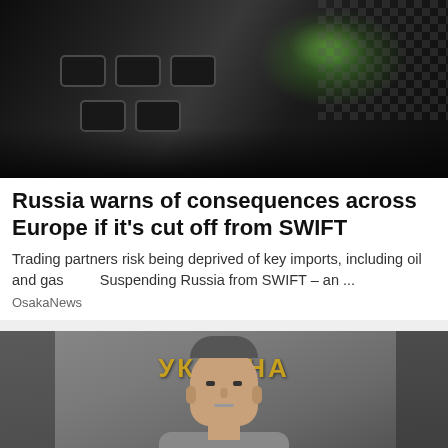[Figure (photo): Close-up photo of a dark credit card or electronic device keys with green glare/light reflection on the surface]
Russia warns of consequences across Europe if it's cut off from SWIFT
Trading partners risk being deprived of key imports, including oil and gas        Suspending Russia from SWIFT – an ...
OsakaNews
[Figure (photo): Photo of a man (Vitali Klitschko) standing in front of a Ukrainian government building with Cyrillic text reading УКРАЇНА (Ukraine) visible in golden letters behind him]